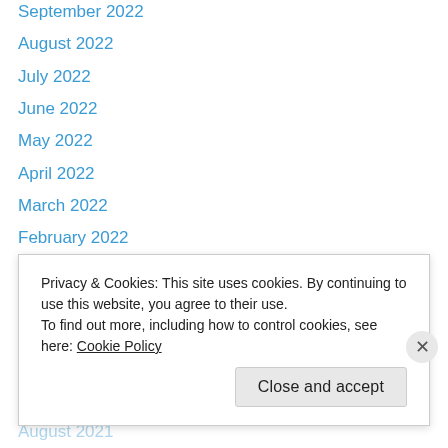September 2022
August 2022
July 2022
June 2022
May 2022
April 2022
March 2022
February 2022
January 2022
December 2021
November 2021
October 2021
September 2021
August 2021
Privacy & Cookies: This site uses cookies. By continuing to use this website, you agree to their use.
To find out more, including how to control cookies, see here: Cookie Policy